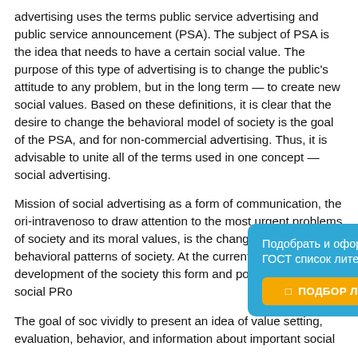advertising uses the terms public service advertising and public service announcement (PSA). The subject of PSA is the idea that needs to have a certain social value. The purpose of this type of advertising is to change the public's attitude to any problem, but in the long term — to create new social values. Based on these definitions, it is clear that the desire to change the behavioral model of society is the goal of the PSA, and for non-commercial advertising. Thus, it is advisable to unite all of the terms used in one concept — social advertising.
Mission of social advertising as a form of communication, the ori-intravenoso to draw attention to the most urgent problems of society and its moral values, is the change in the behavioral patterns of society. At the current pace of development of the society this form... and powerful fo... called social PRo...
The goal of soc... vividly to present an idea of value setting, evaluation, behavior, and information about important social...
[Figure (other): Pop-up banner in Russian: 'Подобрать и оформить по ГОСТ список литературы' with a yellow button 'ПОДБОР ЛИТЕРАТУРЫ' and a close (X) button.]